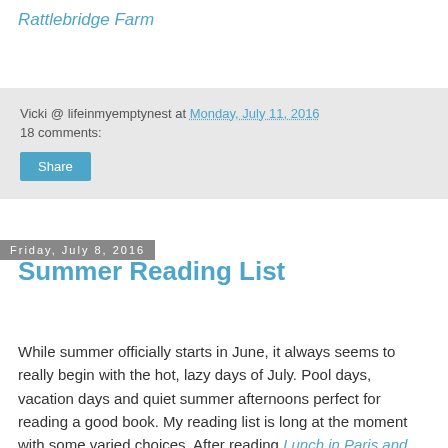Rattlebridge Farm
Vicki @ lifeinmyemptynest at Monday, July 11, 2016
18 comments:
Share
Friday, July 8, 2016
Summer Reading List
While summer officially starts in June, it always seems to really begin with the hot, lazy days of July. Pool days, vacation days and quiet summer afternoons perfect for reading a good book. My reading list is long at the moment with some varied choices. After reading Lunch in Paris and